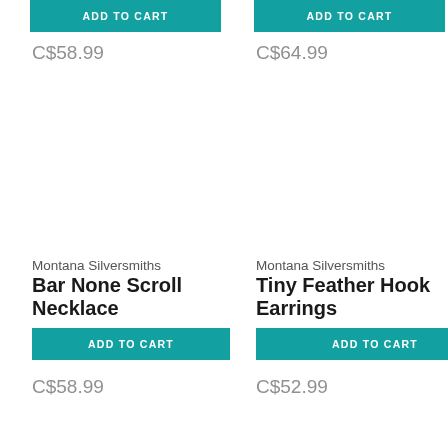[Figure (other): Add to Cart button (teal) for product in left column, top row]
C$58.99
[Figure (other): Add to Cart button (teal) for product in right column, top row]
C$64.99
Montana Silversmiths
Bar None Scroll Necklace
[Figure (other): Add to Cart button (teal) for Bar None Scroll Necklace]
C$58.99
Montana Silversmiths
Tiny Feather Hook Earrings
[Figure (other): Add to Cart button (teal) for Tiny Feather Hook Earrings]
C$52.99